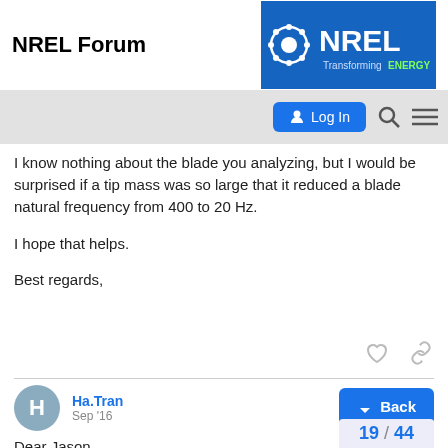NREL Forum
I know nothing about the blade you analyzing, but I would be surprised if a tip mass was so large that it reduced a blade natural frequency from 400 to 20 Hz.
I hope that helps.
Best regards,
Ha.Tran  Sep '16
Dear Jason,
I am really sorry if I make some inconvenie...